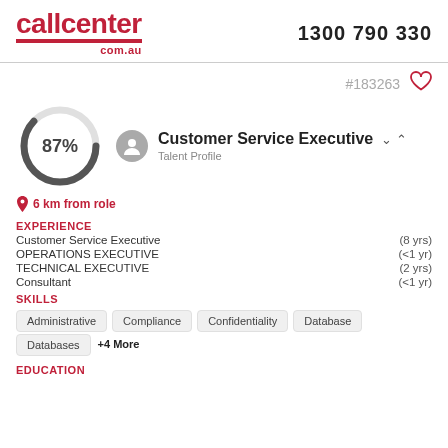callcenter com.au | 1300 790 330
#183263
[Figure (other): Circular donut chart showing 87% completion, with a person avatar icon]
Customer Service Executive
Talent Profile
6 km from role
EXPERIENCE
Customer Service Executive (8 yrs)
OPERATIONS EXECUTIVE (<1 yr)
TECHNICAL EXECUTIVE (2 yrs)
Consultant (<1 yr)
SKILLS
Administrative
Compliance
Confidentiality
Database
Databases +4 More
EDUCATION